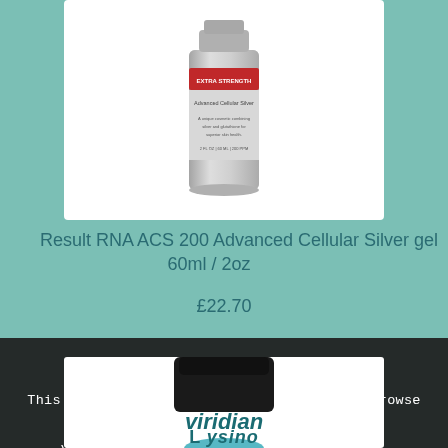[Figure (photo): Product photo of Result RNA ACS 200 Advanced Cellular Silver gel bottle (60ml/2oz), silver/grey cylindrical bottle with red and white label, shown on white background card]
Result RNA ACS 200 Advanced Cellular Silver gel 60ml / 2oz
£22.70
[Figure (photo): Partial product photo showing dark jar with black lid (top portion) and Viridian brand label visible, with Lysine product partially shown at bottom]
This site uses cookies. By continuing to browse the site, you are agreeing to our use of cookies.
Accept all cookies
Settings